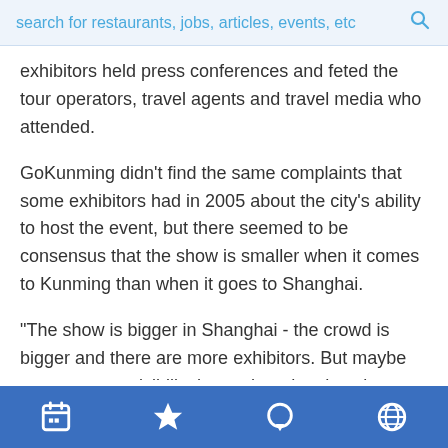search for restaurants, jobs, articles, events, etc
exhibitors held press conferences and feted the tour operators, travel agents and travel media who attended.
GoKunming didn't find the same complaints that some exhibitors had in 2005 about the city's ability to host the event, but there seemed to be consensus that the show is smaller when it comes to Kunming than when it goes to Shanghai.
“The show is bigger in Shanghai - the crowd is bigger and there are more exhibitors. But maybe you get more visibility here when the show is smaller,” said Michael Rudolph, who was representing Air Berlin, a new airline that will have direct flights to Dusseldorf from Beijing and Shanghai. Brackets deleted.
navigation icons: calendar, star, chat, globe